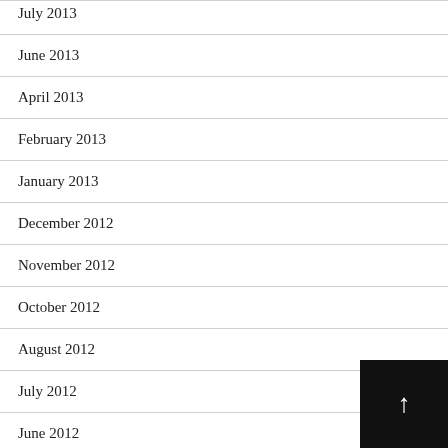July 2013
June 2013
April 2013
February 2013
January 2013
December 2012
November 2012
October 2012
August 2012
July 2012
June 2012
May 2012